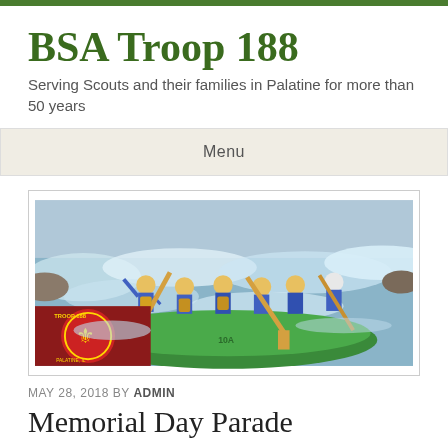BSA Troop 188
Serving Scouts and their families in Palatine for more than 50 years
Menu
[Figure (photo): Group of scouts in yellow helmets and blue life jackets white-water rafting on a green inflatable raft. A red troop 188 patch/logo is visible in the lower left corner.]
MAY 28, 2018 BY ADMIN
Memorial Day Parade
Date/Time
Map Unavailable